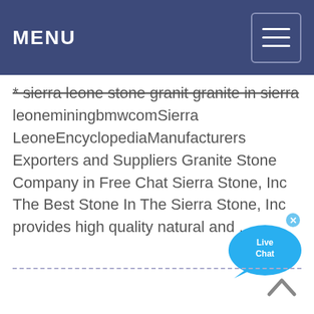MENU
* sierra leone stone granit granite in sierra leoneminingbmwcomSierra LeoneEncyclopediaManufacturers Exporters and Suppliers Granite Stone Company in Free Chat Sierra Stone, Inc The Best Stone In The Sierra Stone, Inc provides high quality natural and ...
[Figure (illustration): Live Chat bubble widget with blue speech bubble and 'Live Chat' text, with an X close button]
[Figure (illustration): Back to top arrow chevron icon]